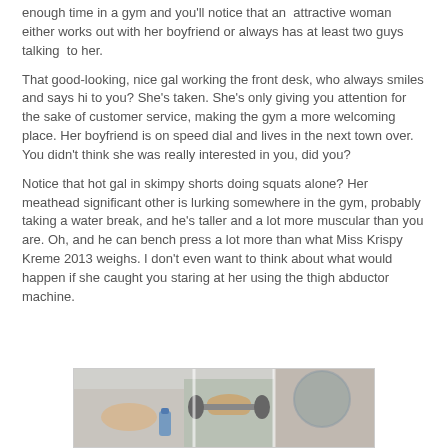enough time in a gym and you'll notice that an attractive woman either works out with her boyfriend or always has at least two guys talking to her.
That good-looking, nice gal working the front desk, who always smiles and says hi to you? She's taken. She's only giving you attention for the sake of customer service, making the gym a more welcoming place. Her boyfriend is on speed dial and lives in the next town over. You didn't think she was really interested in you, did you?
Notice that hot gal in skimpy shorts doing squats alone? Her meathead significant other is lurking somewhere in the gym, probably taking a water break, and he's taller and a lot more muscular than you are. Oh, and he can bench press a lot more than what Miss Krispy Kreme 2013 weighs. I don't even want to think about what would happen if she caught you staring at her using the thigh abductor machine.
[Figure (photo): Partial photo of people working out in a gym, showing arms and gym equipment]